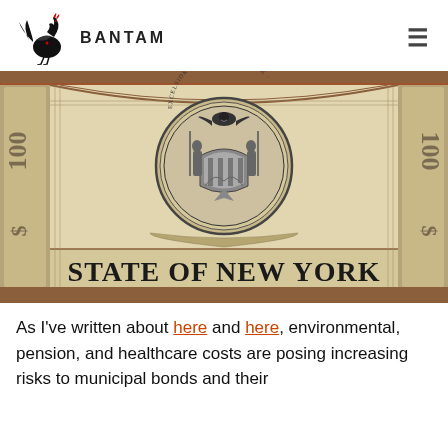BANTAM
[Figure (illustration): A State of New York municipal bond certificate showing the New York State seal (eagle atop a shield with two figures) in the center, engraved style, with ornate borders and large text reading 'STATE OF NEW YORK' at the bottom.]
As I've written about here and here, environmental, pension, and healthcare costs are posing increasing risks to municipal bonds and their